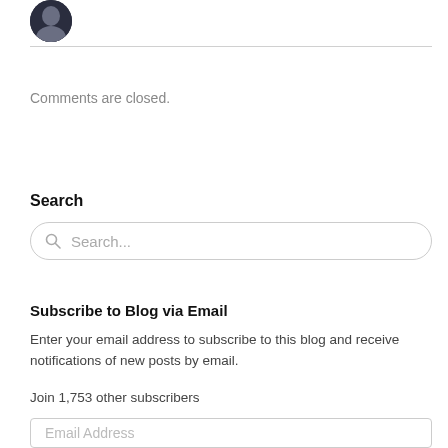[Figure (photo): Partial circular avatar photo of a person, dark background, top-left corner]
Comments are closed.
Search
Search...
Subscribe to Blog via Email
Enter your email address to subscribe to this blog and receive notifications of new posts by email.
Join 1,753 other subscribers
Email Address